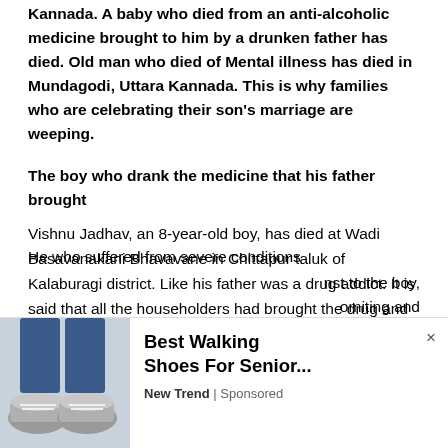Kannada. A baby who died from an anti-alcoholic medicine brought to him by a drunken father has died. Old man who died of Mental illness has died in Mundagodi, Uttara Kannada. This is why families who are celebrating their son's marriage are weeping.
The boy who drank the medicine that his father brought
Vishnu Jadhav, an 8-year-old boy, has died at Wadi Basavanakani Bhavavane in Chittapur taluk of Kalaburagi district. Like his father was a drug addict. It is said that all the householders had brought the drug and had been feeding him unaware. The boy is dead after taking the same drug.
He who suffered from severe conditions
[Figure (screenshot): Advertisement overlay showing a walking shoe product. Left side has an image of a person's feet wearing grey athletic shoes with blue jeans. Right side shows ad text: 'Best Walking Shoes For Senior...' with source 'New Trend | Sponsored' and a close (×) button. Partially visible article text appears behind the ad on the right side reading 'nst to the boy,' and 'omiting and']